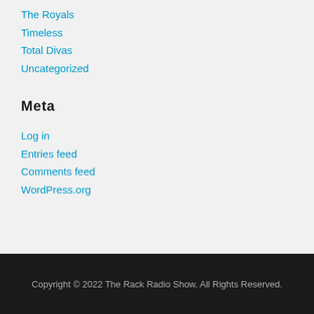The Royals
Timeless
Total Divas
Uncategorized
Meta
Log in
Entries feed
Comments feed
WordPress.org
Copyright © 2022 The Rack Radio Show. All Rights Reserved.